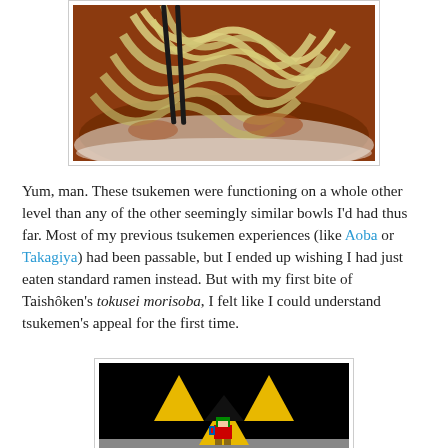[Figure (photo): Close-up photo of tsukemen noodles in a reddish-brown broth in a white bowl, with chopsticks visible.]
Yum, man. These tsukemen were functioning on a whole other level than any of the other seemingly similar bowls I'd had thus far. Most of my previous tsukemen experiences (like Aoba or Takagiya) had been passable, but I ended up wishing I had just eaten standard ramen instead. But with my first bite of Taishôken's tokusei morisoba, I felt like I could understand tsukemen's appeal for the first time.
[Figure (screenshot): Screenshot of a video game (Legend of Zelda) showing the Triforce symbol on a black background with a pixel-art character below it.]